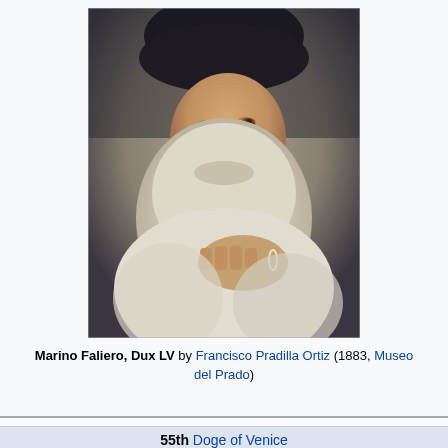[Figure (illustration): Portrait painting of Marino Faliero, Dux LV — an elderly bearded man with white/grey beard wearing a dark cap, hand placed on chest, painted in warm earthy tones. By Francisco Pradilla Ortiz, 1883, Museo del Prado.]
Marino Faliero, Dux LV by Francisco Pradilla Ortiz (1883, Museo del Prado)
55th Doge of Venice
In office
11 September 1354 – 15 April 1355